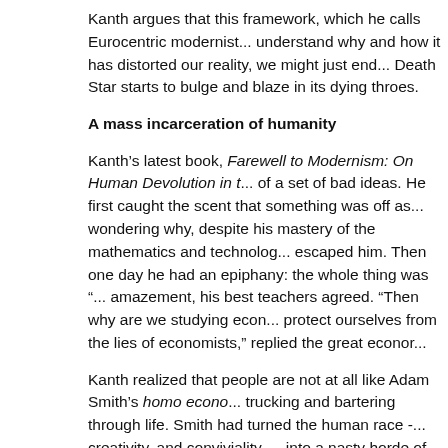Kanth argues that this framework, which he calls Eurocentric modernis... understand why and how it has distorted our reality, we might just end... Death Star starts to bulge and blaze in its dying throes.
A mass incarceration of humanity
Kanth’s latest book, Farewell to Modernism: On Human Devolution in t... of a set of bad ideas. He first caught the scent that something was off as... wondering why, despite his mastery of the mathematics and technolog... escaped him. Then one day he had an epiphany: the whole thing was “... amazement, his best teachers agreed. “Then why are we studying econ... protect ourselves from the lies of economists,” replied the great econor...
Kanth realized that people are not at all like Adam Smith’s homo econo... trucking and bartering through life. Smith had turned the human race -... creativity, and conviviality — into a nasty horde of instinctive materialist...
Using his training in history and cultural theory, Kanth dedicated himse... thinking took hold of us and how it delivered a society which is essentia... sees everybody else as a means to their own private ends. Eurocentric m... an endless and exhausting Hobbesian competition. For every expansio... space shrunk and our natural environment spoiled. For every benefit w... us against each other. Have the costs become too high?
The creed of capture
The Eurocentric modernist program, according to Kanth, has four plan...